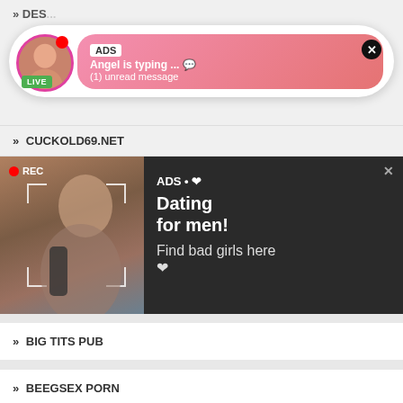» DES...
[Figure (infographic): Advertisement notification popup: profile photo with LIVE badge, pink gradient bubble showing 'ADS', 'Angel is typing ... 💬', '(1) unread message', with close X button]
» CUCKOLD69.NET
[Figure (infographic): Large dark advertisement block with woman photo on left showing REC badge and focus frame, dark right panel with text 'ADS • ❤ Dating for men! Find bad girls here ❤']
» BIG TITS PUB
» BEEGSEX PORN
» BDSMIS